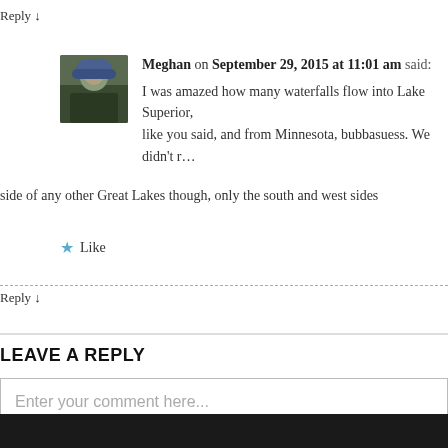Reply ↓
Meghan on September 29, 2015 at 11:01 am said:
I was amazed how many waterfalls flow into Lake Superior, like you said, and from Minnesota, bubbasuess. We didn't r… side of any other Great Lakes though, only the south and west sides
★ Like
Reply ↓
LEAVE A REPLY
Enter your comment here...